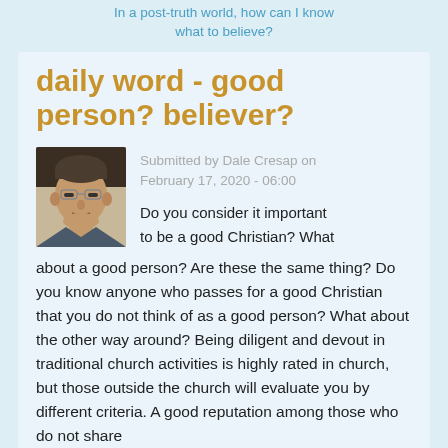In a post-truth world, how can I know what to believe?
daily word - good person? believer?
Submitted by Dale Cresap on February 17, 2020 - 06:00
[Figure (photo): Portrait photo of Dale Cresap, a middle-aged man with glasses]
Do you consider it important to be a good Christian? What about a good person? Are these the same thing? Do you know anyone who passes for a good Christian that you do not think of as a good person? What about the other way around? Being diligent and devout in traditional church activities is highly rated in church, but those outside the church will evaluate you by different criteria. A good reputation among those who do not share